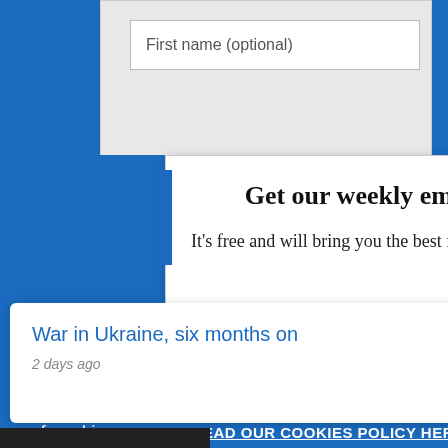First name (optional)
Get our weekly email
It's free and will bring you the best from
We use necessary cookies that allow our site to work. We also set optional cookies that help us improve our website. For more information about the types of cookies we use. READ OUR COOKIES POLICY HERE
COOKIE
ALLOW
War in Ukraine, six months on
2 days ago
data.